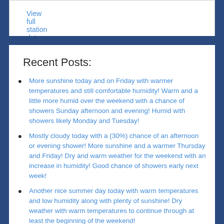View full station data »
Recent Posts:
More sunshine today and on Friday with warmer temperatures and still comfortable humidity! Warm and a little more humid over the weekend with a chance of showers Sunday afternoon and evening! Humid with showers likely Monday and Tuesday!
Mostly cloudy today with a (30%) chance of an afternoon or evening shower! More sunshine and a warmer Thursday and Friday! Dry and warm weather for the weekend with an increase in humidity! Good chance of showers early next week!
Another nice summer day today with warm temperatures and low humidity along with plenty of sunshine! Dry weather with warm temperatures to continue through at least the beginning of the weekend!
Mostly sunny and seasonably warm today with only a slight (20%) chance of a scattered shower! Mainly dry